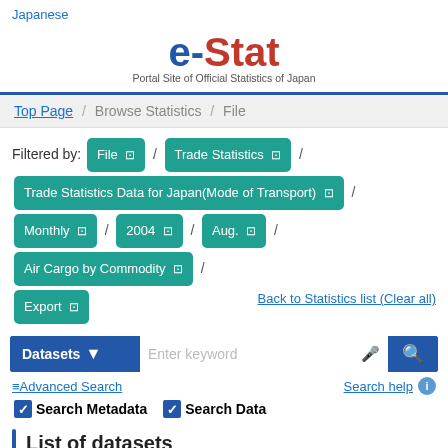Japanese
[Figure (logo): e-Stat logo — 'e-Stat' in large text (blue and red), tagline: 'Portal Site of Official Statistics of Japan']
Top Page / Browse Statistics / File
Filtered by: File ✕ / Trade Statistics ✕ / Trade Statistics Data for Japan(Mode of Transport) ✕ / Monthly ✕ / 2004 ✕ / Aug. ✕ / Air Cargo by Commodity ✕ / Export ✕
Back to Statistics list (Clear all)
Datasets — Enter keyword
≡Advanced Search
Search help
☑Search Metadata  ☑Search Data
List of datasets
◁ Back to survey results
View in list form